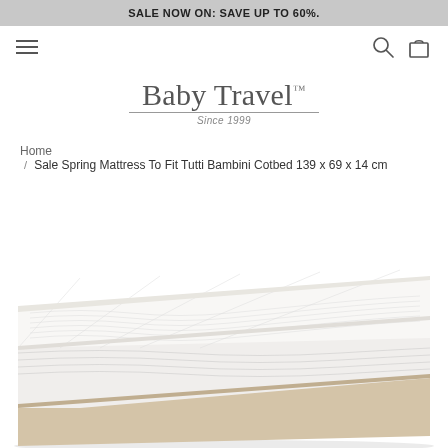SALE NOW ON: SAVE UP TO 60%.
[Figure (logo): Baby Travel TM logo with 'Since 1999' tagline]
Home / Sale Spring Mattress To Fit Tutti Bambini Cotbed 139 x 69 x 14 cm
[Figure (photo): White quilted spring mattress shown at an angle, with beige side panels visible]